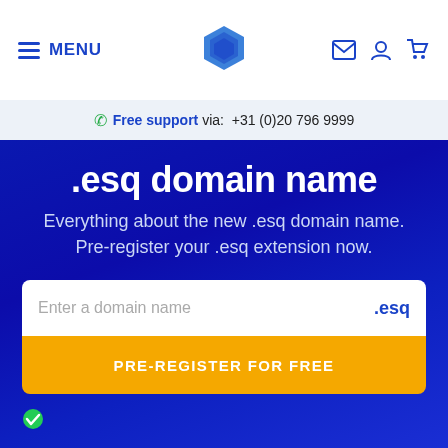MENU | [logo] | [icons: mail, account, cart]
Free support via: +31 (0)20 796 9999
.esq domain name
Everything about the new .esq domain name. Pre-register your .esq extension now.
Enter a domain name .esq
PRE-REGISTER FOR FREE